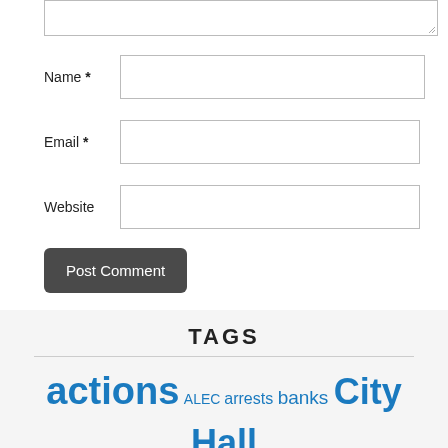[Figure (screenshot): Comment form textarea (top portion, partially cut off) with resize handle]
Name *
Email *
Website
Post Comment
TAGS
actions ALEC arrests banks City Hall education Elections environment F29 foreclosure greed history houselessness ICE ideas